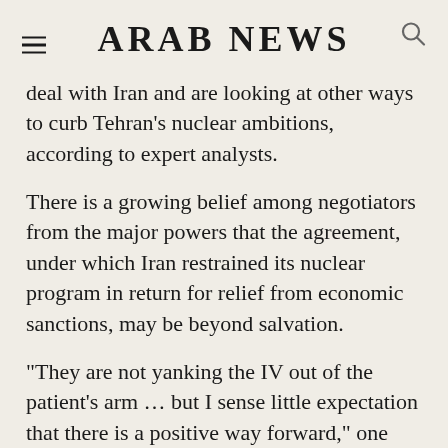ARAB NEWS
deal with Iran and are looking at other ways to curb Tehran’s nuclear ambitions, according to expert analysts.
There is a growing belief among negotiators from the major powers that the agreement, under which Iran restrained its nuclear program in return for relief from economic sanctions, may be beyond salvation.
“They are not yanking the IV out of the patient’s arm … but I sense little expectation that there is a positive way forward,” one diplomatic source told the Reuters news agency. Four Western diplomats also described hopes of a revived deal as “withering away.”